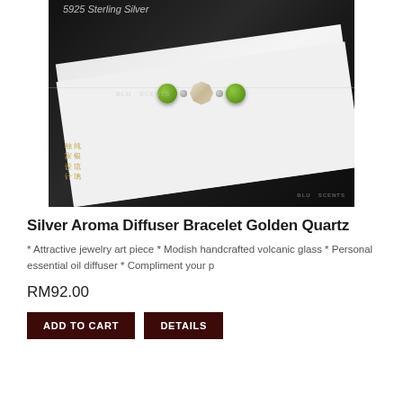[Figure (photo): Product photo of a Silver Aroma Diffuser Bracelet with Golden Quartz beads. Shows green glass beads and a crystal/quartz bead on a silver chain, draped over an open book. Dark background. Watermarks 'BLU SCENTS' appear twice. Chinese characters in gold on lower left. Text '5925 Sterling Silver' in italic at top.]
Silver Aroma Diffuser Bracelet Golden Quartz
* Attractive jewelry art piece * Modish handcrafted volcanic glass * Personal essential oil diffuser * Compliment your p
RM92.00
ADD TO CART
DETAILS